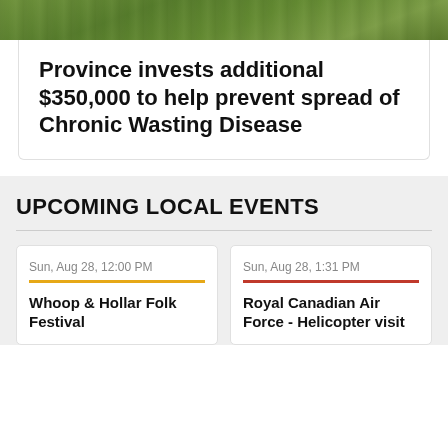[Figure (photo): Green foliage/trees photo strip at top of page]
Province invests additional $350,000 to help prevent spread of Chronic Wasting Disease
UPCOMING LOCAL EVENTS
Sun, Aug 28, 12:00 PM
Whoop & Hollar Folk Festival
Sun, Aug 28, 1:31 PM
Royal Canadian Air Force - Helicopter visit